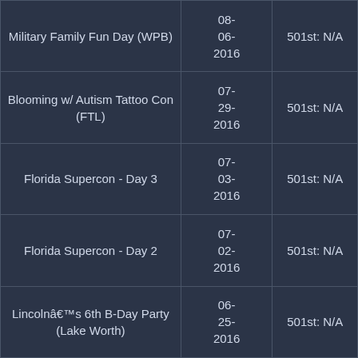| Military Family Fun Day (WPB) | 08-06-2016 | 501st: N/A |
| Blooming w/ Autism Tattoo Con (FTL) | 07-29-2016 | 501st: N/A |
| Florida Supercon - Day 3 | 07-03-2016 | 501st: N/A |
| Florida Supercon - Day 2 | 07-02-2016 | 501st: N/A |
| Lincolnâ€™s 6th B-Day Party (Lake Worth) | 06-25-2016 | 501st: N/A |